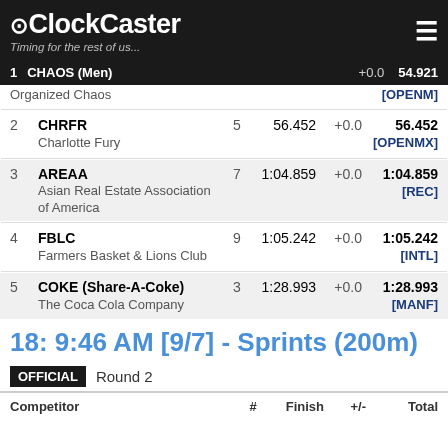ClockCaster - Timing for the rest of us...
| Place | Competitor | # | Finish | +/- | Total |
| --- | --- | --- | --- | --- | --- |
| 1 | CHAOS (Men) / Organized Chaos |  |  | +0.0 | 54.921 [OPENM] |
| 2 | CHRFR / Charlotte Fury | 5 | 56.452 | +0.0 | 56.452 [OPENMX] |
| 3 | AREAA / Asian Real Estate Association of America | 7 | 1:04.859 | +0.0 | 1:04.859 [REC] |
| 4 | FBLC / Farmers Basket & Lions Club | 9 | 1:05.242 | +0.0 | 1:05.242 [INTL] |
| 5 | COKE (Share-A-Coke) / The Coca Cola Company | 3 | 1:28.993 | +0.0 | 1:28.993 [MANF] |
18: 9:46 AM [9/7] - Sprints (200m)
OFFICIAL  Round 2
| Competitor | # | Finish | +/- | Total |
| --- | --- | --- | --- | --- |